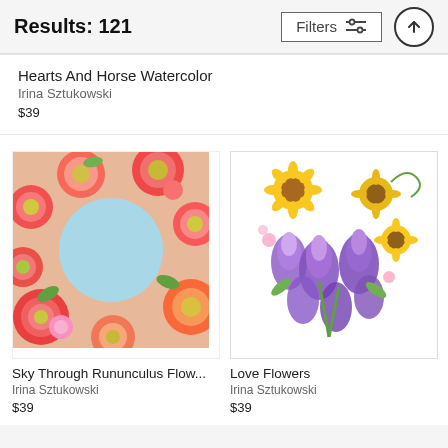Results: 121  Filters
Hearts And Horse Watercolor
Irina Sztukowski
$39
[Figure (photo): Square photo of colorful red, pink, and orange ranunculus flowers arranged in a circle against a light blue sky background]
Sky Through Rununculus Flow...
Irina Sztukowski
$39
[Figure (photo): Watercolor illustration of a heart shape made of purple irises and yellow sunflowers on a white background]
Love Flowers
Irina Sztukowski
$39